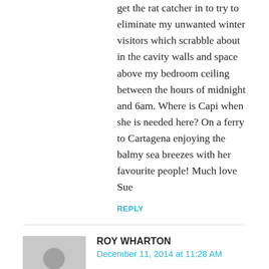get the rat catcher in to try to eliminate my unwanted winter visitors which scrabble about in the cavity walls and space above my bedroom ceiling between the hours of midnight and 6am. Where is Capi when she is needed here? On a ferry to Cartagena enjoying the balmy sea breezes with her favourite people! Much love Sue
REPLY
ROY WHARTON
December 11, 2014 at 11:28 AM
Hi Nancy and Bill
Heard about your epic, awesome trip from Mandi, so I have been following along. I have really enjoyed your pictures and blog, really cool. Hey Nancy, don't let Bill get any ideas about jumping from any airplanes during your trip. You both know that